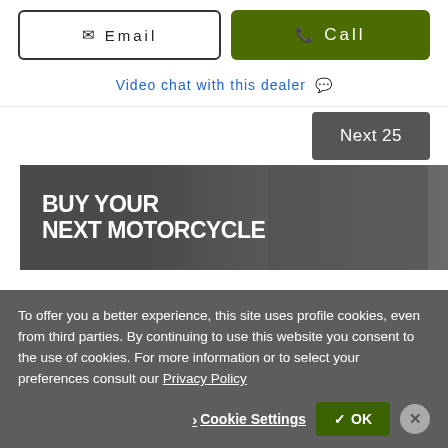Email
Call
Video chat with this dealer 💬
Next 25
[Figure (photo): Advertisement banner with text 'BUY YOUR NEXT MOTORCYCLE' on a dark background with a motorcycle rider silhouette]
To offer you a better experience, this site uses profile cookies, even from third parties. By continuing to use this website you consent to the use of cookies. For more information or to select your preferences consult our Privacy Policy
Cookie Settings
✓ OK